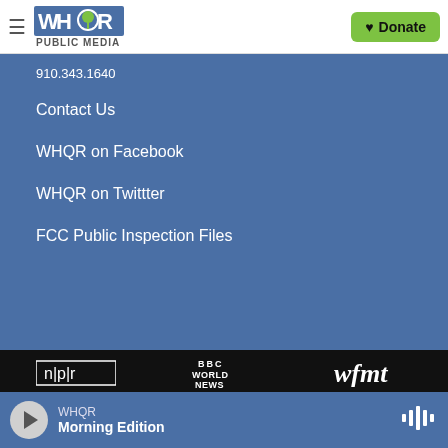WHQR PUBLIC MEDIA — Donate
910.343.1640
Contact Us
WHQR on Facebook
WHQR on Twittter
FCC Public Inspection Files
[Figure (logo): NPR logo (white on black background)]
[Figure (logo): BBC World News logo (white on black background)]
[Figure (logo): wfmt logo (white on black background)]
WHQR Morning Edition (audio player bar)